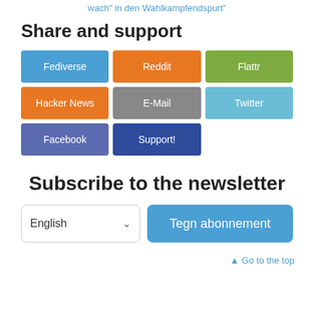wach" in den Wahlkampfendspurt"
Share and support
[Figure (other): Share and support buttons: Fediverse (blue), Reddit (orange), Flattr (green), Hacker News (orange), E-Mail (gray), Twitter (light blue), Facebook (indigo), Support! (dark blue)]
Subscribe to the newsletter
[Figure (other): Newsletter subscription UI with English language dropdown and Tegn abonnement button]
▲ Go to the top